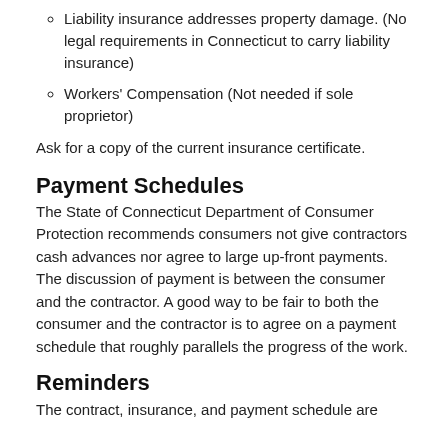Liability insurance addresses property damage. (No legal requirements in Connecticut to carry liability insurance)
Workers' Compensation (Not needed if sole proprietor)
Ask for a copy of the current insurance certificate.
Payment Schedules
The State of Connecticut Department of Consumer Protection recommends consumers not give contractors cash advances nor agree to large up-front payments. The discussion of payment is between the consumer and the contractor. A good way to be fair to both the consumer and the contractor is to agree on a payment schedule that roughly parallels the progress of the work.
Reminders
The contract, insurance, and payment schedule are